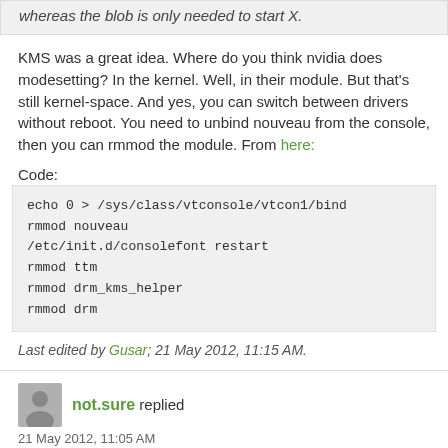whereas the blob is only needed to start X.
KMS was a great idea. Where do you think nvidia does modesetting? In the kernel. Well, in their module. But that's still kernel-space. And yes, you can switch between drivers without reboot. You need to unbind nouveau from the console, then you can rmmod the module. From here:
Code:
echo 0 > /sys/class/vtconsole/vtcon1/bind
rmmod nouveau
/etc/init.d/consolefont restart
rmmod ttm
rmmod drm_kms_helper
rmmod drm
Last edited by Gusar; 21 May 2012, 11:15 AM.
not.sure replied
21 May 2012, 11:05 AM
I'm not.sure KMS was such a great idea to begin with. For example, is it possible to switch between nouveau and blob